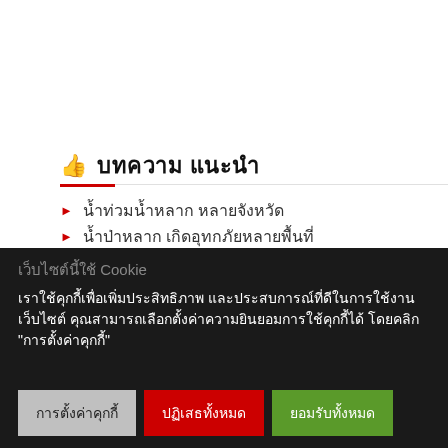👍 บทความ แนะนำ
น้ำท่วมน้ำหลาก หลายจังหวัด
น้ำป่าหลาก เกิดอุทกภัยหลายพื้นที่
เว็บไซต์นี้ใช้ Cookie
เราใช้คุกกี้เพื่อเพิ่มประสิทธิภาพ และประสบการณ์ที่ดีในการใช้งานเว็บไซต์ คุณสามารถเลือกตั้งค่าความยินยอมการใช้คุกกี้ได้ โดยคลิก "การตั้งค่าคุกกี้"
การตั้งค่าคุกกี้ | ปฏิเสธทั้งหมด | ยอมรับทั้งหมด